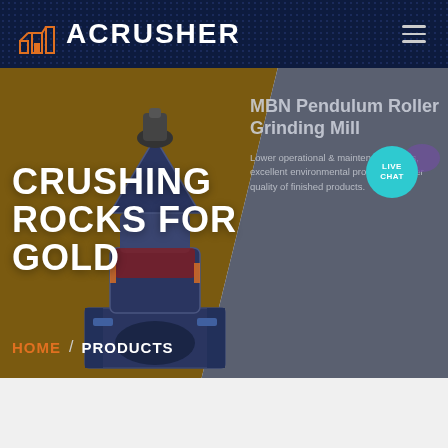ACRUSHER
[Figure (screenshot): ACRUSHER website screenshot showing a crushing equipment product page. Left panel has a golden-brown background with a large industrial grinding mill machine image. Right gray panel shows product info. Navigation bar at top is dark navy blue with ACRUSHER logo and hamburger menu. A teal live chat bubble is visible on the right side.]
CRUSHING ROCKS FOR GOLD
MBN Pendulum Roller Grinding Mill
Lower operational & maintenance costs, excellent environmental protection, better quality of finished products.
HOME / PRODUCTS